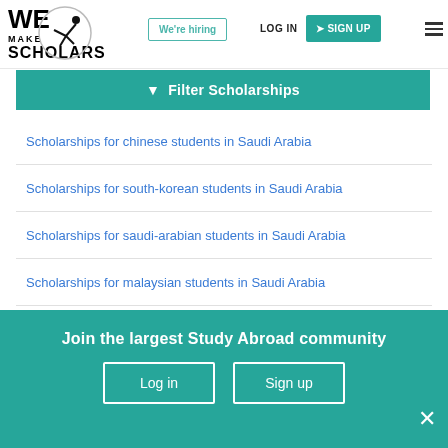WE MAKE SCHOLARS — We're hiring | LOG IN | SIGN UP
Filter Scholarships
Scholarships for chinese students in Saudi Arabia
Scholarships for south-korean students in Saudi Arabia
Scholarships for saudi-arabian students in Saudi Arabia
Scholarships for malaysian students in Saudi Arabia
Scholarships for vietnamese students in Saudi Arabia
Join the largest Study Abroad community
Log in   Sign up